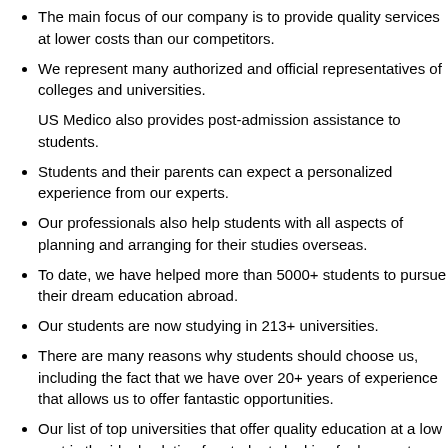The main focus of our company is to provide quality services at lower costs than our competitors.
We represent many authorized and official representatives of colleges and universities.
US Medico also provides post-admission assistance to students.
Students and their parents can expect a personalized experience from our experts.
Our professionals also help students with all aspects of planning and arranging for their studies overseas.
To date, we have helped more than 5000+ students to pursue their dream education abroad.
Our students are now studying in 213+ universities.
There are many reasons why students should choose us, including the fact that we have over 20+ years of experience that allows us to offer fantastic opportunities.
Our list of top universities that offer quality education at a low cost is the ideal solution for students looking for low cost